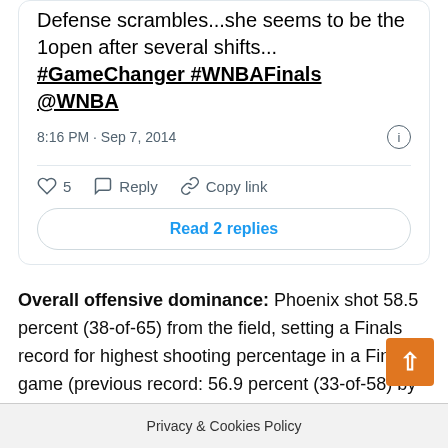Defense scrambles...she seems to be the 1open after several shifts... #GameChanger #WNBAFinals @WNBA
8:16 PM · Sep 7, 2014
5  Reply  Copy link
Read 2 replies
Overall offensive dominance: Phoenix shot 58.5 percent (38-of-65) from the field, setting a Finals record for highest shooting percentage in a Finals game (previous record: 56.9 percent (33-of-58) by Minnesota vs. Atlanta – Oct. 8, 2013)
Bench experience: Phoenix has championship experience on their bench with seven-year veteran guard Erin Phillips. Acquired by the Mercury from the Fever, the